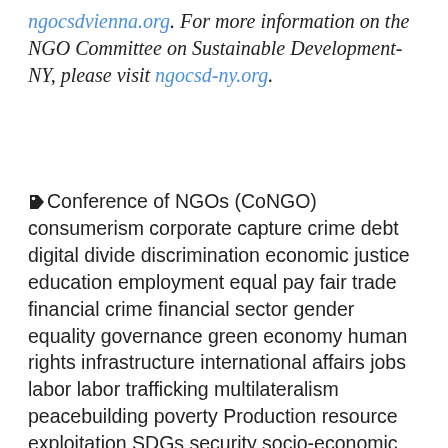ngocsdvienna.org. For more information on the NGO Committee on Sustainable Development-NY, please visit ngocsd-ny.org.
🏷Conference of NGOs (CoNGO) consumerism corporate capture crime debt digital divide discrimination economic justice education employment equal pay fair trade financial crime financial sector gender equality governance green economy human rights infrastructure international affairs jobs labor labor trafficking multilateralism peacebuilding poverty Production resource exploitation SDGs security socio-economic recovery supply chains technology trade UNCTAD wealth distribution wealth gap worker rights workplace conditions